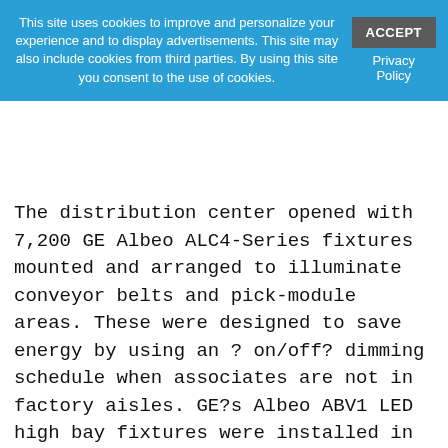This site uses cookies to improve and personalize your experience and to display advertisements. This site may also include cookies from third parties. By using this site you consent to the use of cookies.
The distribution center opened with 7,200 GE Albeo ALC4-Series fixtures mounted and arranged to illuminate conveyor belts and pick-module areas. These were designed to save energy by using an ? on/off? dimming schedule when associates are not in factory aisles. GE?s Albeo ABV1 LED high bay fixtures were installed in a 200,000-square-foot section as part of a second phase of construction. GE provided lighting in the warehouse with T5 fluorescent tubes, Lumination ET Series recessed LED troffers and LED downlights in the building?s office space as well as